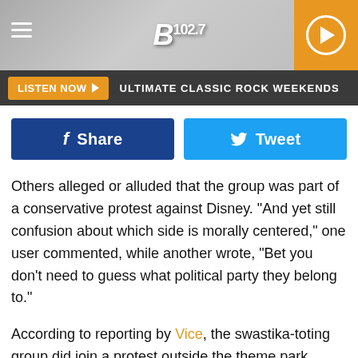[Figure (logo): B 102.7 radio station logo in header with hamburger menu and play button]
LISTEN NOW ▶  ULTIMATE CLASSIC ROCK WEEKENDS
[Figure (other): Facebook Share button and Twitter Tweet button row]
Others alleged or alluded that the group was part of a conservative protest against Disney. "And yet still confusion about which side is morally centered," one user commented, while another wrote, "Bet you don't need to guess what political party they belong to."
According to reporting by Vice, the swastika-toting group did join a protest outside the theme park resort. Conservatives have taken to protesting against the parks and Disney at large ever since the company spoke out against Florida's so